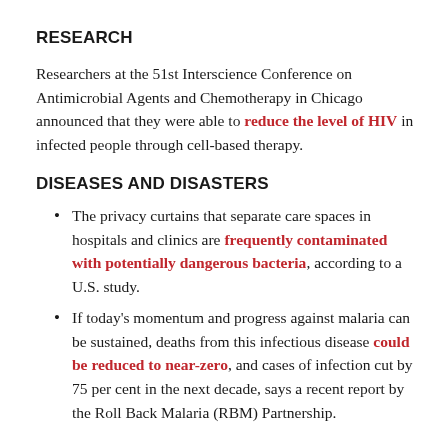RESEARCH
Researchers at the 51st Interscience Conference on Antimicrobial Agents and Chemotherapy in Chicago announced that they were able to reduce the level of HIV in infected people through cell-based therapy.
DISEASES AND DISASTERS
The privacy curtains that separate care spaces in hospitals and clinics are frequently contaminated with potentially dangerous bacteria, according to a U.S. study.
If today's momentum and progress against malaria can be sustained, deaths from this infectious disease could be reduced to near-zero, and cases of infection cut by 75 per cent in the next decade, says a recent report by the Roll Back Malaria (RBM) Partnership.